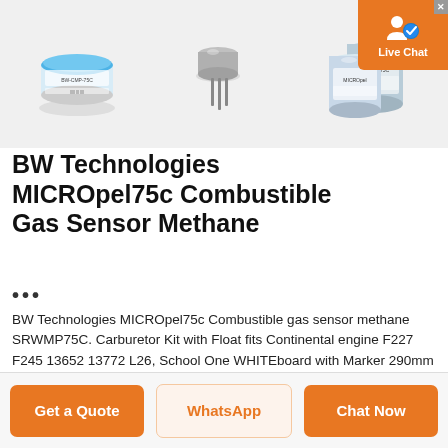[Figure (photo): Three product images of combustible gas sensors: a round blue-rimmed sensor on left, a small transistor/pin-style sensor in center, and two silver cylindrical sensors on the right. A Live Chat button overlay appears in the top-right corner.]
BW Technologies MICROpel75c Combustible Gas Sensor Methane
...
BW Technologies MICROpel75c Combustible gas sensor methane SRWMP75C. Carburetor Kit with Float fits Continental engine F227 F245 13652 13772 L26, School One WHITEboard with Marker 290mm × 220mm with Two Magnet Buttons, With Case T Tap Clamp Wire Connector Kit Assortment Spade Terminals Quick Splice.